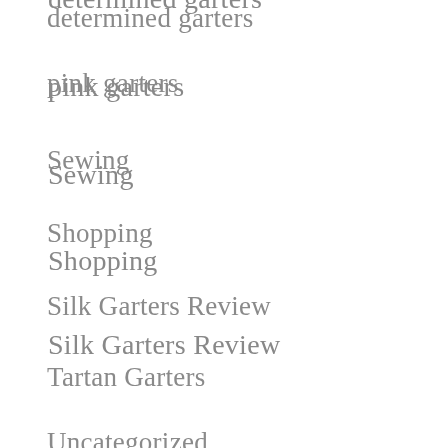determined garters
pink garters
Sewing
Shopping
Silk Garters Review
Tartan Garters
Uncategorized
unique garters
Vintage wedding garters